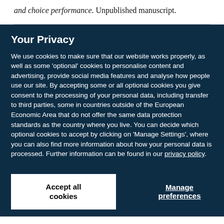and choice performance. Unpublished manuscript.
Your Privacy
We use cookies to make sure that our website works properly, as well as some 'optional' cookies to personalise content and advertising, provide social media features and analyse how people use our site. By accepting some or all optional cookies you give consent to the processing of your personal data, including transfer to third parties, some in countries outside of the European Economic Area that do not offer the same data protection standards as the country where you live. You can decide which optional cookies to accept by clicking on 'Manage Settings', where you can also find more information about how your personal data is processed. Further information can be found in our privacy policy.
Accept all cookies
Manage preferences